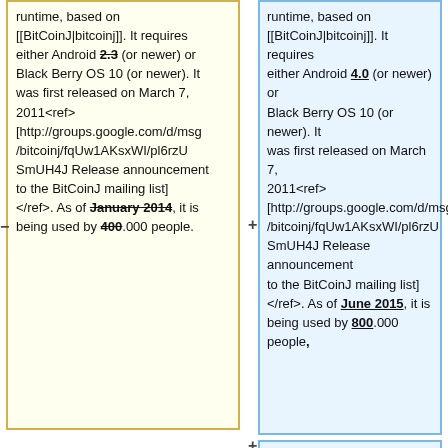runtime, based on [[BitCoinJ|bitcoinj]]. It requires either Android 2.3 (or newer) or Black Berry OS 10 (or newer). It was first released on March 7, 2011<ref> [http://groups.google.com/d/msg/bitcoinj/fqUw1AKsxWI/pl6rzUSmUH4J Release announcement to the BitCoinJ mailing list] </ref>. As of January 2014, it is being used by 400.000 people.
runtime, based on [[BitCoinJ|bitcoinj]]. It requires either Android 4.0 (or newer) or Black Berry OS 10 (or newer). It was first released on March 7, 2011<ref> [http://groups.google.com/d/msg/bitcoinj/fqUw1AKsxWI/pl6rzUSmUH4J Release announcement to the BitCoinJ mailing list] </ref>. As of June 2015, it is being used by 800.000 people.
==Key Derivation and Export==
Since version 4.0 Bitcoin Wallet supports HD